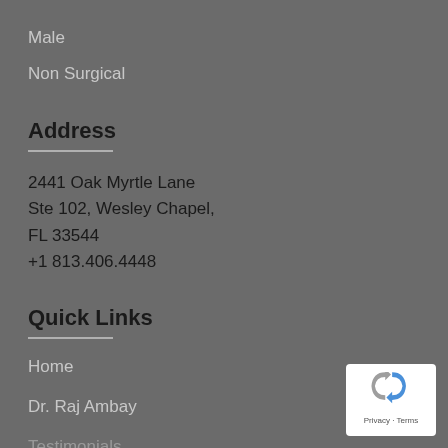Male
Non Surgical
Address
2441 Oak Myrtle Lane
Ste 102, Wesley Chapel,
FL 33544
+1 813.406.4448
Quick Links
Home
Dr. Raj Ambay
Testimonials